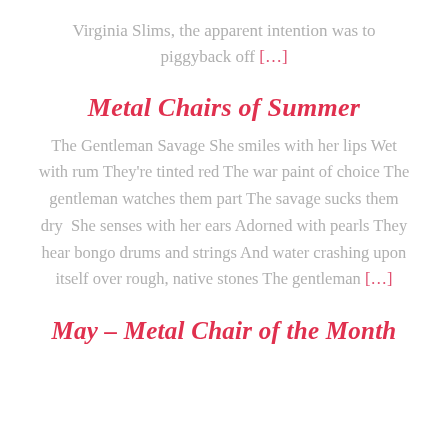Virginia Slims, the apparent intention was to piggyback off [...]
Metal Chairs of Summer
The Gentleman Savage She smiles with her lips Wet with rum They're tinted red The war paint of choice The gentleman watches them part The savage sucks them dry  She senses with her ears Adorned with pearls They hear bongo drums and strings And water crashing upon itself over rough, native stones The gentleman [...]
May – Metal Chair of the Month